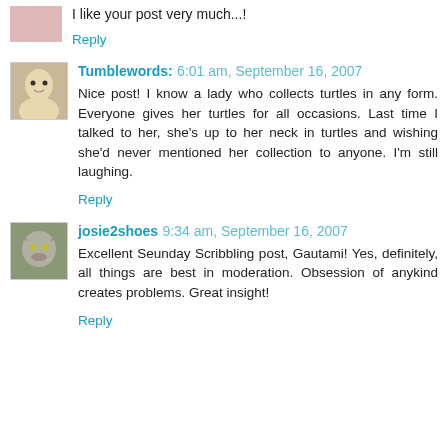I like your post very much...!
Reply
Tumblewords: 6:01 am, September 16, 2007
Nice post! I know a lady who collects turtles in any form. Everyone gives her turtles for all occasions. Last time I talked to her, she's up to her neck in turtles and wishing she'd never mentioned her collection to anyone. I'm still laughing.
Reply
josie2shoes 9:34 am, September 16, 2007
Excellent Seunday Scribbling post, Gautami! Yes, definitely, all things are best in moderation. Obsession of anykind creates problems. Great insight!
Reply